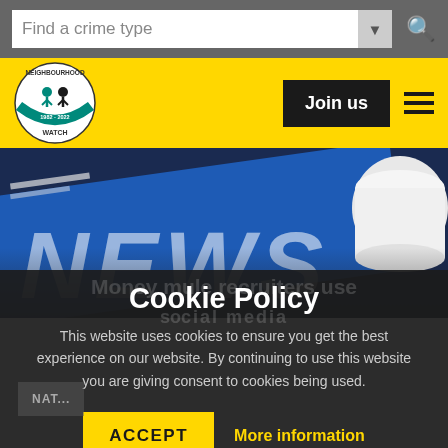Find a crime type
[Figure (logo): Neighbourhood Watch circular logo with people figures and text '1982-2022']
Join us
[Figure (photo): Close-up photo of a newspaper with 'NEWS' text visible on blue background, next to a white mug]
Cookie Policy
Money mule recruiters use...
This website uses cookies to ensure you get the best experience on our website. By continuing to use this website you are giving consent to cookies being used.
ACCEPT
More information